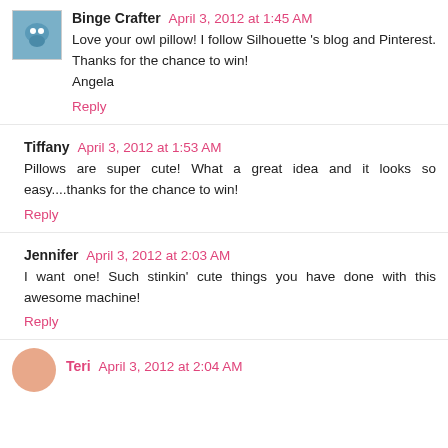Binge Crafter  April 3, 2012 at 1:45 AM
Love your owl pillow! I follow Silhouette 's blog and Pinterest. Thanks for the chance to win!
Angela
Reply
Tiffany  April 3, 2012 at 1:53 AM
Pillows are super cute! What a great idea and it looks so easy....thanks for the chance to win!
Reply
Jennifer  April 3, 2012 at 2:03 AM
I want one! Such stinkin' cute things you have done with this awesome machine!
Reply
Teri  April 3, 2012 at 2:04 AM